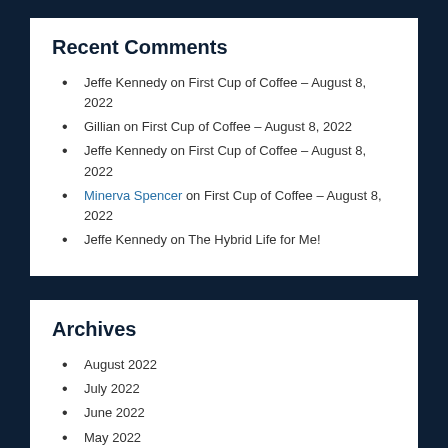Recent Comments
Jeffe Kennedy on First Cup of Coffee – August 8, 2022
Gillian on First Cup of Coffee – August 8, 2022
Jeffe Kennedy on First Cup of Coffee – August 8, 2022
Minerva Spencer on First Cup of Coffee – August 8, 2022
Jeffe Kennedy on The Hybrid Life for Me!
Archives
August 2022
July 2022
June 2022
May 2022
April 2022
March 2022
February 2022